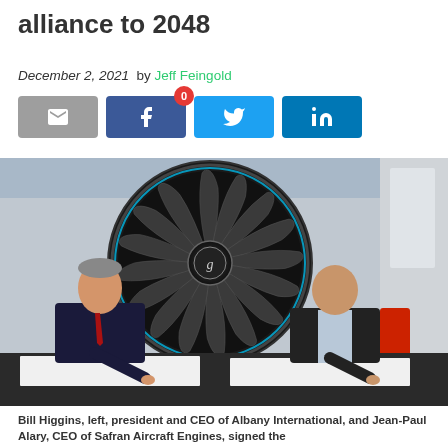alliance to 2048
December 2, 2021 by Jeff Feingold
[Figure (photo): Two men signing documents at a table in front of a large jet engine (Safran Aircraft Engines). Left man is Bill Higgins, president and CEO of Albany International, wearing a dark suit with red tie. Right man is Jean-Paul Alary, CEO of Safran Aircraft Engines, in a dark jacket over light shirt.]
Bill Higgins, left, president and CEO of Albany International, and Jean-Paul Alary, CEO of Safran Aircraft Engines, signed the